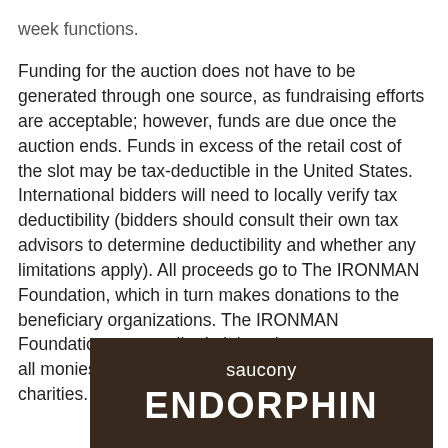week functions.
Funding for the auction does not have to be generated through one source, as fundraising efforts are acceptable; however, funds are due once the auction ends. Funds in excess of the retail cost of the slot may be tax-deductible in the United States. International bidders will need to locally verify tax deductibility (bidders should consult their own tax advisors to determine deductibility and whether any limitations apply). All proceeds go to The IRONMAN Foundation, which in turn makes donations to the beneficiary organizations. The IRONMAN Foundation covers all administrative costs to ensure all monies raised will directly benefit the selected charities.
[Figure (photo): Product image with Saucony brand logo and ENDORPHIN text in white on a dark brown background]